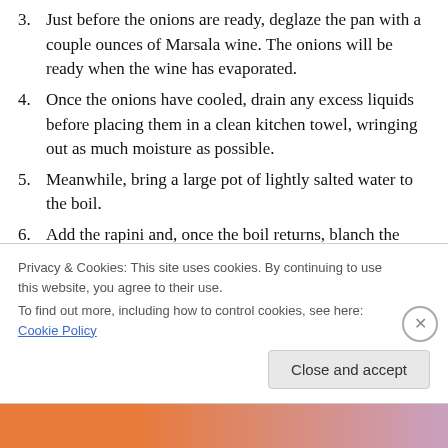3. Just before the onions are ready, deglaze the pan with a couple ounces of Marsala wine. The onions will be ready when the wine has evaporated.
4. Once the onions have cooled, drain any excess liquids before placing them in a clean kitchen towel, wringing out as much moisture as possible.
5. Meanwhile, bring a large pot of lightly salted water to the boil.
6. Add the rapini and, once the boil returns, blanch the rapini for 5 minutes.
7. Remove the rapini from the boiling water and
Privacy & Cookies: This site uses cookies. By continuing to use this website, you agree to their use.
To find out more, including how to control cookies, see here: Cookie Policy
Close and accept